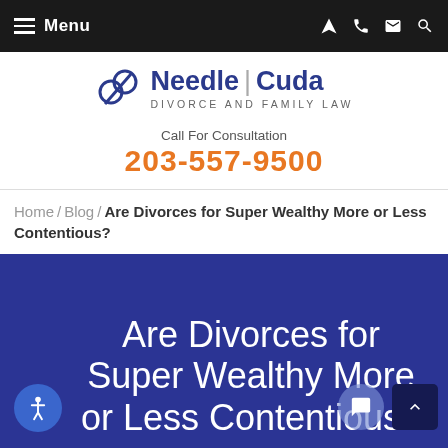Menu
[Figure (logo): Needle | Cuda Divorce and Family Law logo with two interlocking rings icon]
Call For Consultation
203-557-9500
Home / Blog / Are Divorces for Super Wealthy More or Less Contentious?
Are Divorces for Super Wealthy More or Less Contentious?